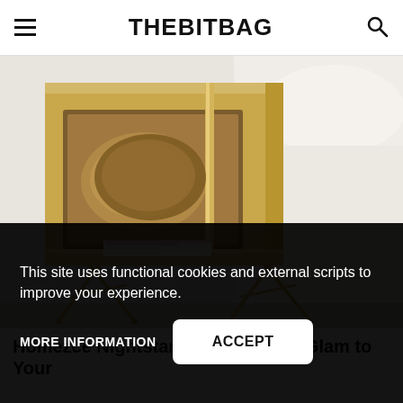THEBITBAG
[Figure (photo): Gold/brass metallic nightstand with mirrored back panel and a magazine on the shelf, standing next to a bed with white bedding. The nightstand has elegant hairpin-style gold legs in an X-cross pattern.]
Homezce Nightstands: Add Some Glam to Your
This site uses functional cookies and external scripts to improve your experience.
MORE INFORMATION
ACCEPT